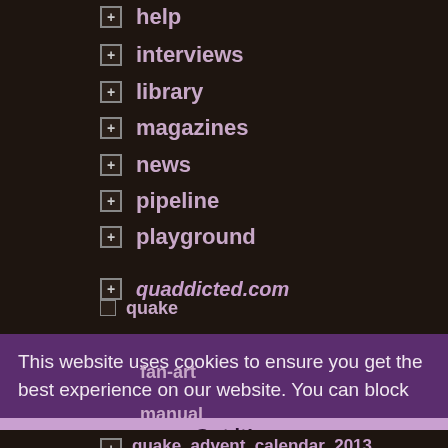help
interviews
library
magazines
news
pipeline
playground
quaddicted.com
quake
fan-art
manual
quake_advent_calendar_2013
This website uses cookies to ensure you get the best experience on our website. You can block cookies and use *most* of the site just fine. TODOpolicy.
Got it!